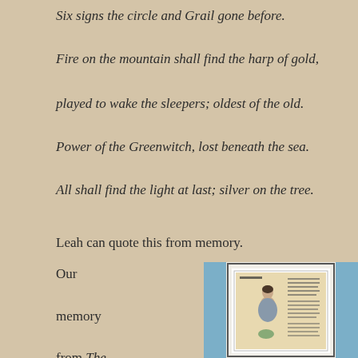Six signs the circle and Grail gone before.
Fire on the mountain shall find the harp of gold,
played to wake the sleepers; oldest of the old.
Power of the Greenwitch, lost beneath the sea.
All shall find the light at last; silver on the tree.
Leah can quote this from memory.
Our memory from The Hunger Games trilogy
[Figure (photo): A framed artwork showing an illustrated figure with text, displayed in a frame with blue background elements visible on the sides.]